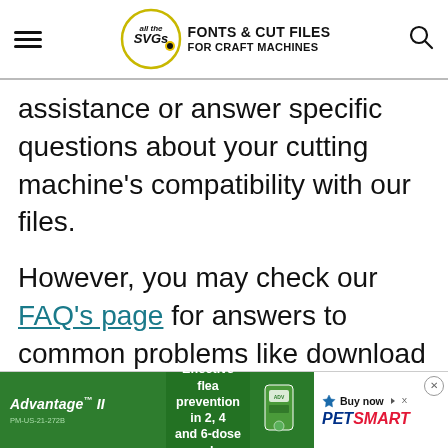all the SVGs - FONTS & CUT FILES FOR CRAFT MACHINES
assistance or answer specific questions about your cutting machine's compatibility with our files.
However, you may check our FAQ's page for answers to common problems like download errors.
Common solutions that will likely fix the from
[Figure (other): Advertisement banner: Advantage II flea prevention product ad with PetSmart branding. Text: Effective flea prevention in 2, 4 and 6-dose packs. PM-US-21-272B. Buy now. PetSmart.]